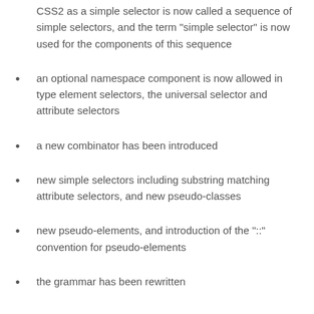CSS2 as a simple selector is now called a sequence of simple selectors, and the term "simple selector" is now used for the components of this sequence
an optional namespace component is now allowed in type element selectors, the universal selector and attribute selectors
a new combinator has been introduced
new simple selectors including substring matching attribute selectors, and new pseudo-classes
new pseudo-elements, and introduction of the "::" convention for pseudo-elements
the grammar has been rewritten